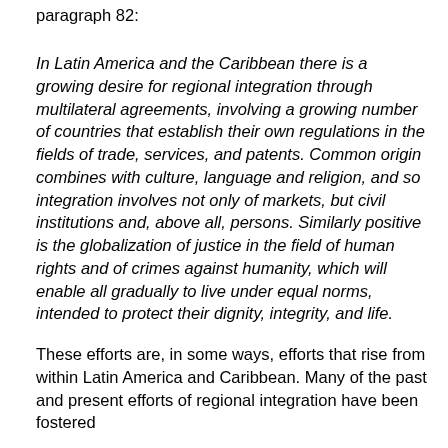paragraph 82:
In Latin America and the Caribbean there is a growing desire for regional integration through multilateral agreements, involving a growing number of countries that establish their own regulations in the fields of trade, services, and patents. Common origin combines with culture, language and religion, and so integration involves not only of markets, but civil institutions and, above all, persons. Similarly positive is the globalization of justice in the field of human rights and of crimes against humanity, which will enable all gradually to live under equal norms, intended to protect their dignity, integrity, and life.
These efforts are, in some ways, efforts that rise from within Latin America and Caribbean. Many of the past and present efforts of regional integration have been fostered